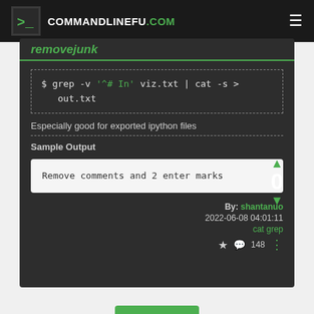COMMANDLINEFU.COM
removejunk
Especially good for exported ipython files
Sample Output
Remove comments and 2 enter marks
0
By: shantanuo
2022-06-08 04:01:11
cat grep
☆ 💬 148